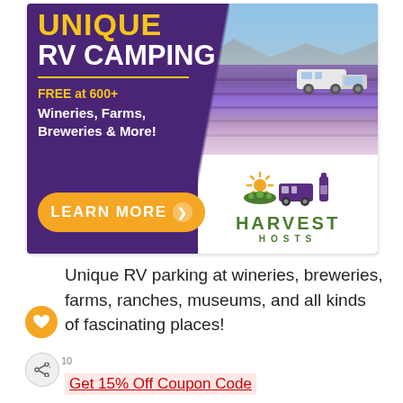[Figure (illustration): Harvest Hosts advertisement banner showing 'UNIQUE RV CAMPING' text in yellow and white on purple background, with photo of lavender field and RV truck, orange 'LEARN MORE' button, and Harvest Hosts logo with sun/RV/wine bottle icon and green HARVEST HOSTS text]
Unique RV parking at wineries, breweries, farms, ranches, museums, and all kinds of fascinating places!
Get 15% Off Coupon Code